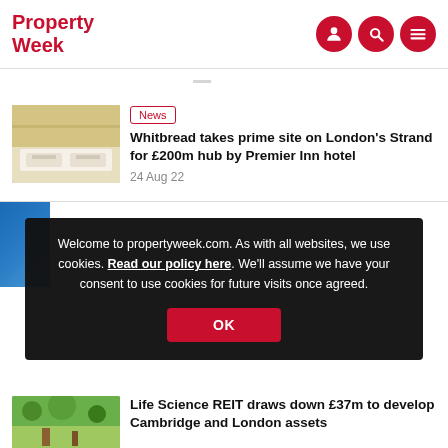Property Week — navigation bar with logo and icons
News
Whitbread takes prime site on London's Strand for £200m hub by Premier Inn hotel
24 Aug 22
Welcome to propertyweek.com. As with all websites, we use cookies. Read our policy here. We'll assume we have your consent to use cookies for future visits once agreed.
OK
Life Science REIT draws down £37m to develop Cambridge and London assets